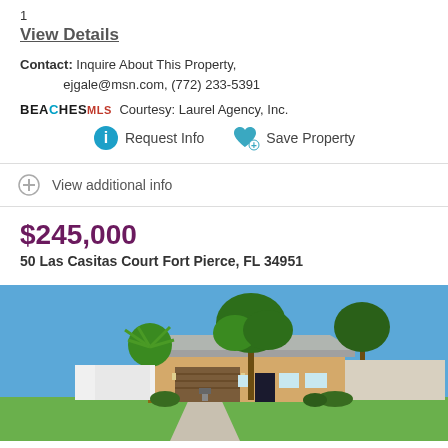1
View Details
Contact: Inquire About This Property, ejgale@msn.com, (772) 233-5391
BEACHESMLS Courtesy: Laurel Agency, Inc.
Request Info   Save Property
View additional info
$245,000
50 Las Casitas Court Fort Pierce, FL 34951
[Figure (photo): Exterior photo of a single-story Florida home with a brown garage door, palm trees, and blue sky]